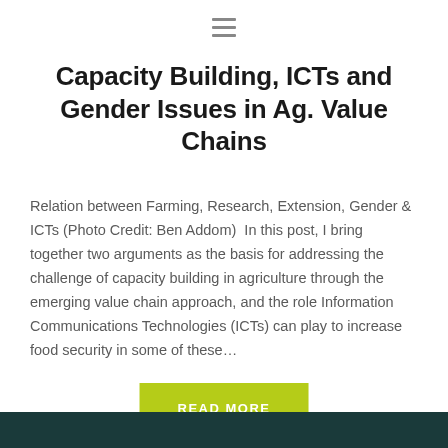[Figure (other): Hamburger menu icon (three horizontal lines) in gray]
Capacity Building, ICTs and Gender Issues in Ag. Value Chains
Relation between Farming, Research, Extension, Gender & ICTs (Photo Credit: Ben Addom)  In this post, I bring together two arguments as the basis for addressing the challenge of capacity building in agriculture through the emerging value chain approach, and the role Information Communications Technologies (ICTs) can play to increase food security in some of these…
READ MORE